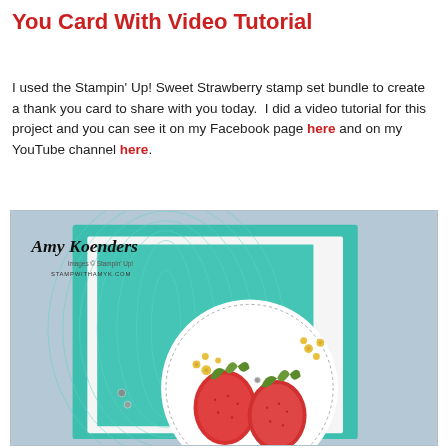You Card With Video Tutorial
I used the Stampin' Up! Sweet Strawberry stamp set bundle to create a thank you card to share with you today. I did a video tutorial for this project and you can see it on my Facebook page here and on my YouTube channel here.
[Figure (photo): A handmade card featuring a teal/mint green background with a wood grain embossed pattern. A circular die-cut panel with a stitched border contains stamped and colored strawberries with green leaves and yellow flowers. The card is displayed against a light gray background. Watermark reads 'Amy Koenders / Images © Stampin' Up! / STAMPWITHAMYK.COM'.]